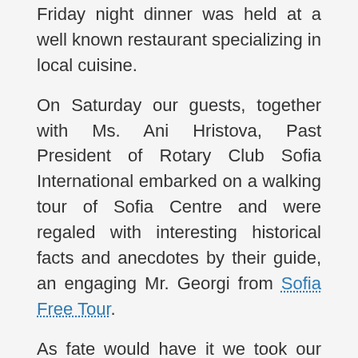Friday night dinner was held at a well known restaurant specializing in local cuisine.
On Saturday our guests, together with Ms. Ani Hristova, Past President of Rotary Club Sofia International embarked on a walking tour of Sofia Centre and were regaled with interesting historical facts and anecdotes by their guide, an engaging Mr. Georgi from Sofia Free Tour.
As fate would have it we took our guests to an inevitable and memorable Rakia adventure at Raketa Rakia Bar.
A lovely dinner at Simple Restaurant rounded off the day.
Our guests were such a wonderful group of people. We hope to return the visit and be their guests in